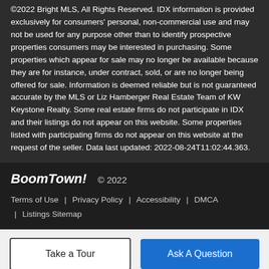©2022 Bright MLS, All Rights Reserved. IDX information is provided exclusively for consumers' personal, non-commercial use and may not be used for any purpose other than to identify prospective properties consumers may be interested in purchasing. Some properties which appear for sale may no longer be available because they are for instance, under contract, sold, or are no longer being offered for sale. Information is deemed reliable but is not guaranteed accurate by the MLS or Liz Hamberger Real Estate Team of KW Keystone Realty. Some real estate firms do not participate in IDX and their listings do not appear on this website. Some properties listed with participating firms do not appear on this website at the request of the seller. Data last updated: 2022-08-24T11:02:44.363.
BoomTown! © 2022 | Terms of Use | Privacy Policy | Accessibility | DMCA | Listings Sitemap
Take a Tour | Ask A Question